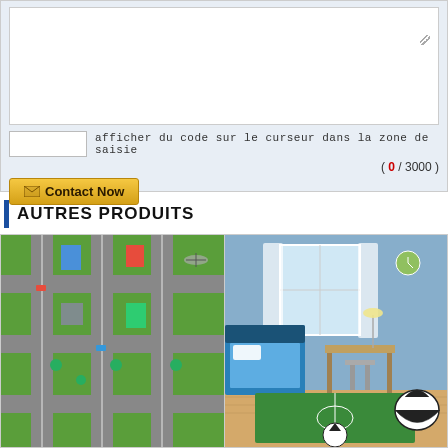afficher du code sur le curseur dans la zone de saisie
( 0 / 3000 )
Contact Now
AUTRES PRODUITS
[Figure (photo): Two product images side by side: left shows a children's city road play mat with colorful streets and buildings; right shows a children's bedroom with a football/soccer field green rug, blue bed, desk, and a soccer ball bean bag chair.]